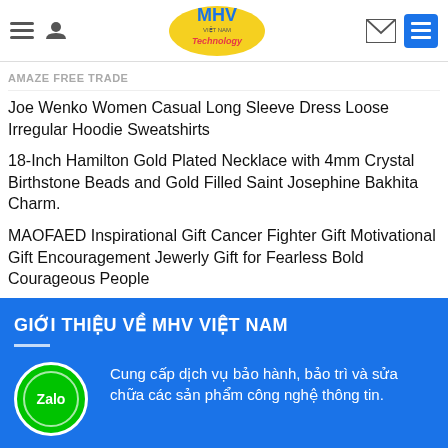MHV Việt Nam Technology
Joe Wenko Women Casual Long Sleeve Dress Loose Irregular Hoodie Sweatshirts
18-Inch Hamilton Gold Plated Necklace with 4mm Crystal Birthstone Beads and Gold Filled Saint Josephine Bakhita Charm.
MAOFAED Inspirational Gift Cancer Fighter Gift Motivational Gift Encouragement Jewerly Gift for Fearless Bold Courageous People
GIỚI THIỆU VỀ MHV VIỆT NAM
Cung cấp dịch vụ bảo hành, bảo trì và sửa chữa các sản phẩm công nghệ thông tin.